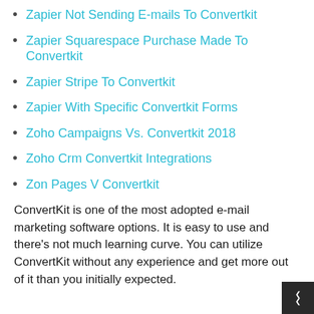Zapier Not Sending E-mails To Convertkit
Zapier Squarespace Purchase Made To Convertkit
Zapier Stripe To Convertkit
Zapier With Specific Convertkit Forms
Zoho Campaigns Vs. Convertkit 2018
Zoho Crm Convertkit Integrations
Zon Pages V Convertkit
ConvertKit is one of the most adopted e-mail marketing software options. It is easy to use and there's not much learning curve. You can utilize ConvertKit without any experience and get more out of it than you initially expected.